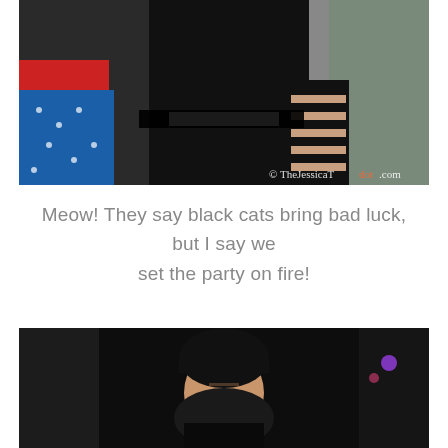[Figure (photo): A photo showing people in Halloween costumes including a black cat costume with cutout black leggings and a Wonder Woman costume with blue star skirt. Watermark reads © TheJessicaT[dot].com]
Meow! They say black cats bring bad luck, but I say we set the party on fire!
[Figure (photo): A dark nightclub or party scene photo showing a person with dark hair in a dimly lit environment with colored lights visible in the background.]